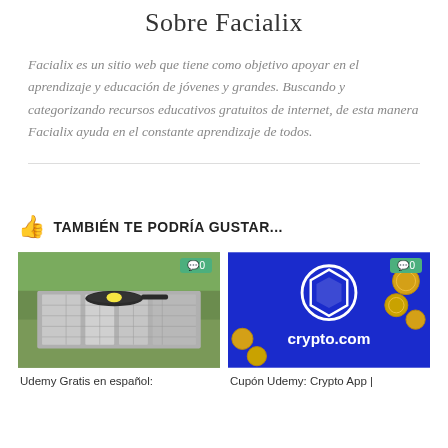Sobre Facialix
Facialix es un sitio web que tiene como objetivo apoyar en el aprendizaje y educación de jóvenes y grandes. Buscando y categorizando recursos educativos gratuitos de internet, de esta manera Facialix ayuda en el constante aprendizaje de todos.
TAMBIÉN TE PODRÍA GUSTAR...
[Figure (photo): Photo of a solar cooker made of aluminum foil with a frying pan on top, outdoors on grass]
[Figure (photo): Photo of crypto.com branding on a blue screen with gold coins around it]
Udemy Gratis en español:
Cupón Udemy: Crypto App |